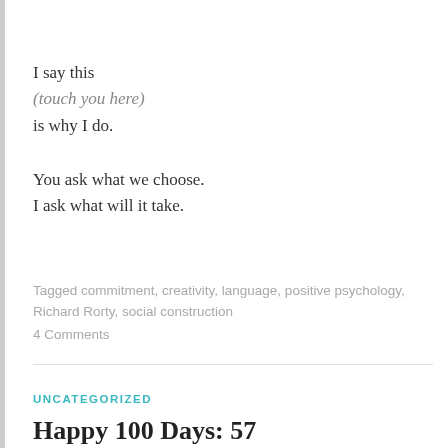I say this
(touch you here)
is why I do.
You ask what we choose.
I ask what will it take.
Tagged commitment, creativity, language, positive psychology, Richard Rorty, social construction
4 Comments
UNCATEGORIZED
Happy 100 Days: 57